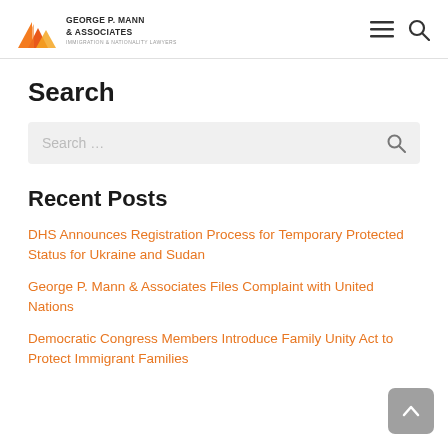George P. Mann & Associates — Immigration & Nationality Lawyers
Search
Search ...
Recent Posts
DHS Announces Registration Process for Temporary Protected Status for Ukraine and Sudan
George P. Mann & Associates Files Complaint with United Nations
Democratic Congress Members Introduce Family Unity Act to Protect Immigrant Families